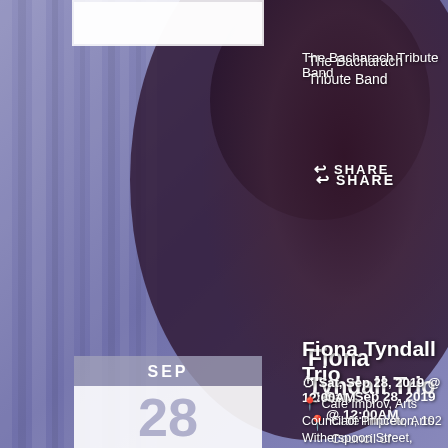[Figure (photo): Background photo of a woman with dark hair against a purple/blue draped curtain backdrop, overlaid with event listing information]
The Bacharach Tribute Band
SHARE
Fiona Tyndall Trio
Sat, Sep 28, 2019 @ 12:00AM
Cafe Improv, Arts Council of Princeton, 102 Witherspoon Street, Princeton., N.J.
Songs of Robert Burns with Peter Jay on harp and fiddle and Dennis Nobile on guitar.
SHARE